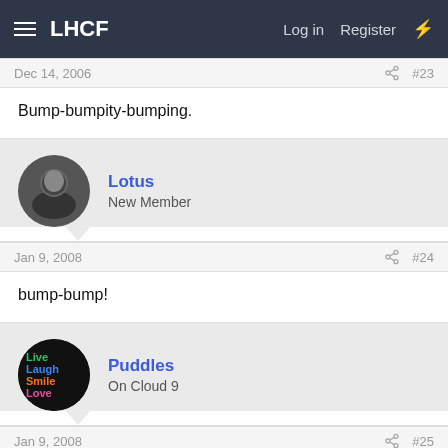LHCF  Log in  Register
Dec 14, 2006  #23
Bump-bumpity-bumping.
Lotus
New Member
Jan 9, 2008  #24
bump-bump!
Puddles
On Cloud 9
Jan 9, 2008  #25